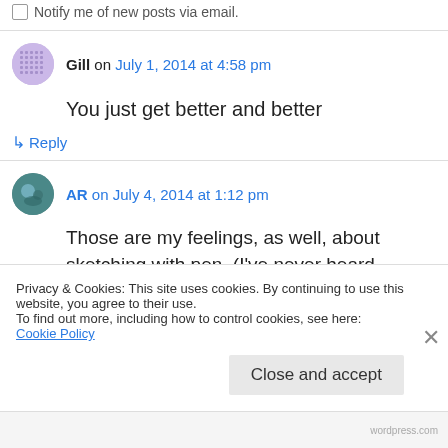Notify me of new posts via email.
Gill on July 1, 2014 at 4:58 pm
You just get better and better
↳ Reply
AR on July 4, 2014 at 1:12 pm
Those are my feelings, as well, about sketching with pen. (I've never heard anyone else express
Privacy & Cookies: This site uses cookies. By continuing to use this website, you agree to their use.
To find out more, including how to control cookies, see here: Cookie Policy
Close and accept